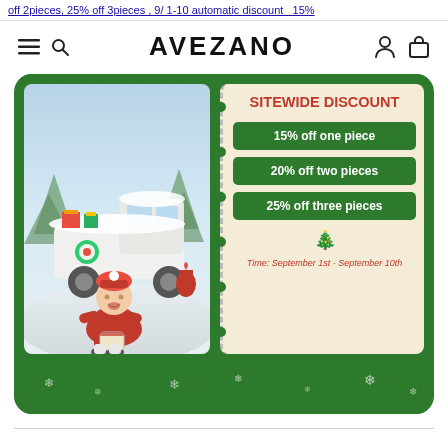off 2pieces, 25% off 3pieces , 9/ 1-10 automatic discount  15%
AVEZANO
[Figure (illustration): Avezano promotional banner for sitewide discount. Green Christmas-themed card with snowflakes. Left side shows a child in red outfit sitting with gift boxes in front of a snowy white truck scene. Right side is a cream ticket-style panel with red bold title 'SITEWIDE DISCOUNT' and three green badge labels: '15% off one piece', '20% off two pieces', '25% off three pieces'. Below in red italic text: 'Time: September 1st - September 10th'.]